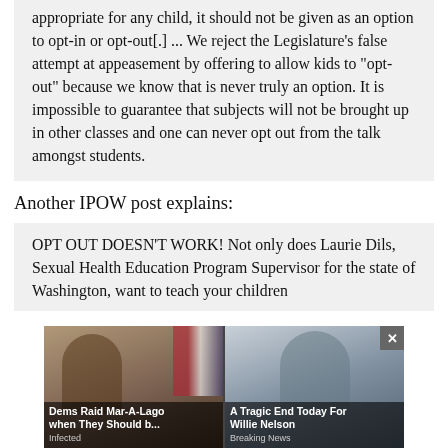appropriate for any child, it should not be given as an option to opt-in or opt-out[.] ... We reject the Legislature's false attempt at appeasement by offering to allow kids to "opt-out" because we know that is never truly an option. It is impossible to guarantee that subjects will not be brought up in other classes and one can never opt out from the talk amongst students.
Another IPOW post explains:
OPT OUT DOESN'T WORK! Not only does Laurie Dils, Sexual Health Education Program Supervisor for the state of Washington, want to teach your children
[Figure (screenshot): Advertisement overlay showing two ad cards: left card shows a man at a podium with US flag background headlined 'Dems Raid Mar-A-Lago when They Should b...' sourced from 'Infected'; right card shows an elderly man with caption 'A Tragic End Today For Willie Nelson' sourced from 'Breaking News'. A close button (X) appears at top right.]